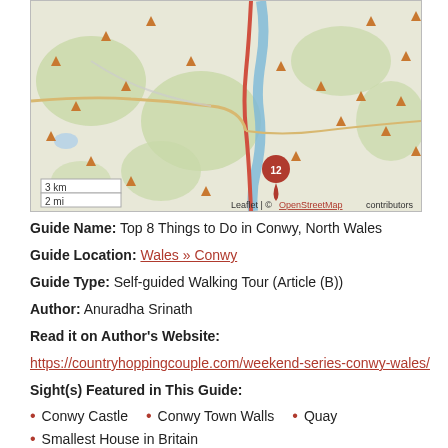[Figure (map): A Leaflet/OpenStreetMap map centered on Conwy, North Wales, showing terrain with green areas, blue river, roads, and multiple orange triangle markers for sights. A red map pin labeled 12 marks Conwy. Scale bar shows 3 km / 2 mi. Attribution: Leaflet | © OpenStreetMap contributors.]
Guide Name: Top 8 Things to Do in Conwy, North Wales
Guide Location: Wales » Conwy
Guide Type: Self-guided Walking Tour (Article (B))
Author: Anuradha Srinath
Read it on Author's Website:
https://countryhoppingcouple.com/weekend-series-conwy-wales/
Sight(s) Featured in This Guide:
Conwy Castle
Conwy Town Walls
Quay
Smallest House in Britain